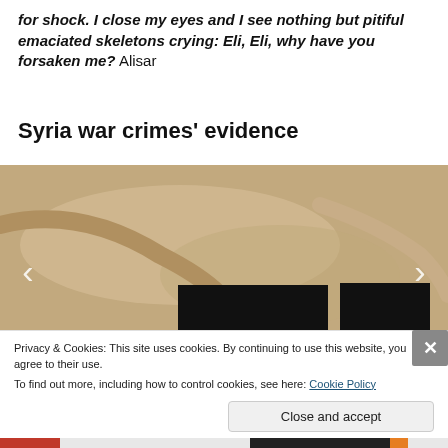for shock. I close my eyes and I see nothing but pitiful emaciated skeletons crying: Eli, Eli, why have you forsaken me? Alisar
Syria war crimes' evidence
[Figure (photo): A photograph showing an emaciated body, partially redacted with black boxes, with navigation arrows on the sides (carousel viewer).]
Privacy & Cookies: This site uses cookies. By continuing to use this website, you agree to their use.
To find out more, including how to control cookies, see here: Cookie Policy
Close and accept